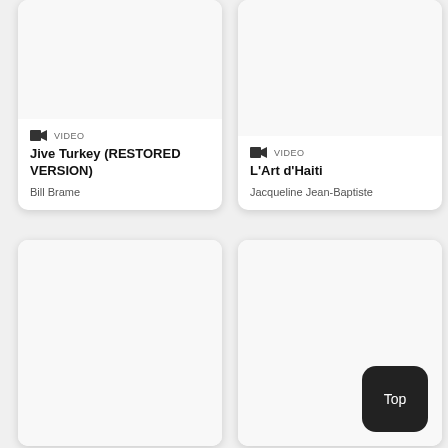[Figure (screenshot): Card with image area for Jive Turkey (RESTORED VERSION) video by Bill Brame]
VIDEO
Jive Turkey (RESTORED VERSION)
Bill Brame
[Figure (screenshot): Card with image area for L'Art d'Haiti video by Jacqueline Jean-Baptiste]
VIDEO
L'Art d'Haiti
Jacqueline Jean-Baptiste
[Figure (screenshot): Card with empty image area (bottom left)]
[Figure (screenshot): Card with empty image area (bottom right) with Top button]
Top